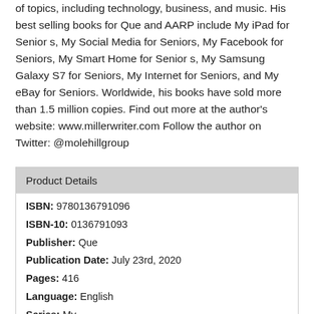of topics, including technology, business, and music. His best selling books for Que and AARP include My iPad for Senior s, My Social Media for Seniors, My Facebook for Seniors, My Smart Home for Senior s, My Samsung Galaxy S7 for Seniors, My Internet for Seniors, and My eBay for Seniors. Worldwide, his books have sold more than 1.5 million copies. Find out more at the author's website: www.millerwriter.com Follow the author on Twitter: @molehillgroup
| Product Details |
| --- |
| ISBN: 9780136791096 |
| ISBN-10: 0136791093 |
| Publisher: Que |
| Publication Date: July 23rd, 2020 |
| Pages: 416 |
| Language: English |
| Series: My... |